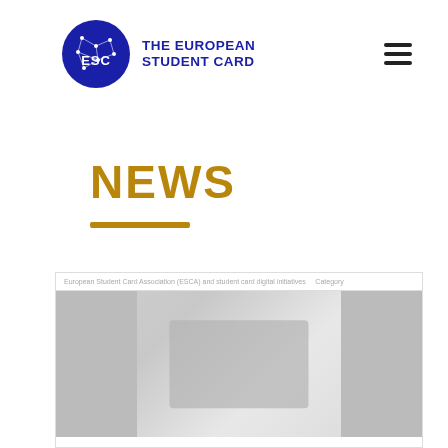[Figure (logo): The European Student Card (ESC) logo: blue circle with constellation network graphic and 'ESC' text, beside bold blue text 'THE EUROPEAN STUDENT CARD']
NEWS
[Figure (screenshot): Partial screenshot of a news article card with a faded/blurred background image showing figures, partially visible at the bottom of the page]